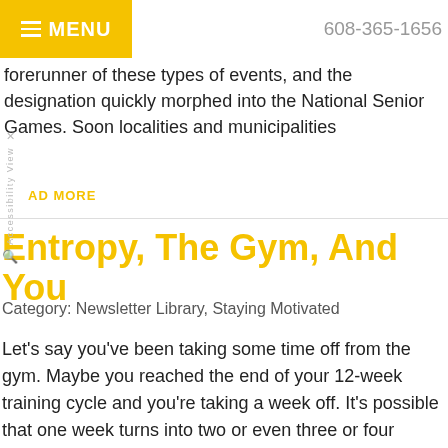MENU  608-365-1656
forerunner of these types of events, and the designation quickly morphed into the National Senior Games. Soon localities and municipalities
AD MORE
Entropy, The Gym, And You
Category: Newsletter Library, Staying Motivated
Let’s say you’ve been taking some time off from the gym. Maybe you reached the end of your 12-week training cycle and you’re taking a week off. It’s possible that one week turns into two or even three or four weeks. Life happens,